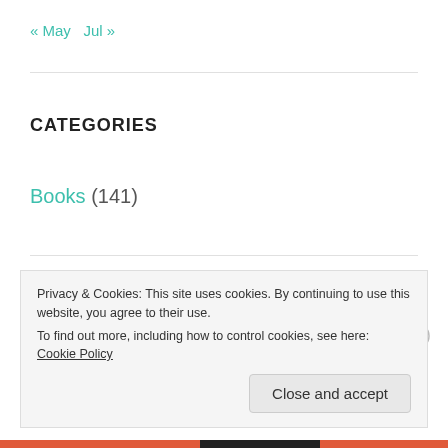« May   Jul »
CATEGORIES
Books (141)
Comics (73)
Movies (382)
Privacy & Cookies: This site uses cookies. By continuing to use this website, you agree to their use.
To find out more, including how to control cookies, see here: Cookie Policy
Close and accept